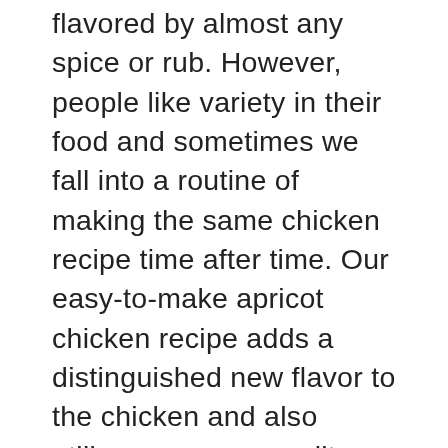flavored by almost any spice or rub. However, people like variety in their food and sometimes we fall into a routine of making the same chicken recipe time after time. Our easy-to-make apricot chicken recipe adds a distinguished new flavor to the chicken and also utilizes our pure quality Verde Valley Olive Oil. Below we have the recipe for this super easy recipe to spice up any chicken dish. Serve over a bed of rice with a salad on the side and you have yourself a healthy, easy, and tasty meal!